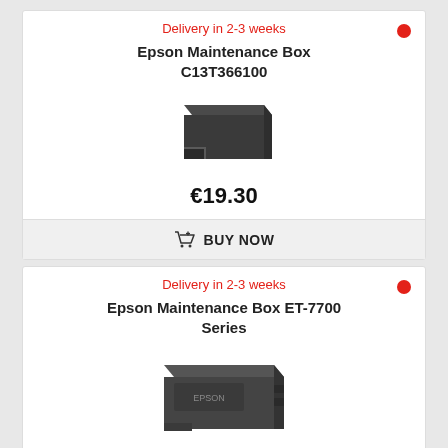Delivery in 2-3 weeks
Epson Maintenance Box C13T366100
[Figure (photo): Epson Maintenance Box C13T366100 product photo — dark grey rectangular cartridge box]
€19.30
BUY NOW
Delivery in 2-3 weeks
Epson Maintenance Box ET-7700 Series
[Figure (photo): Epson Maintenance Box ET-7700 Series product photo — dark grey wider maintenance box with connectors]
€19.30